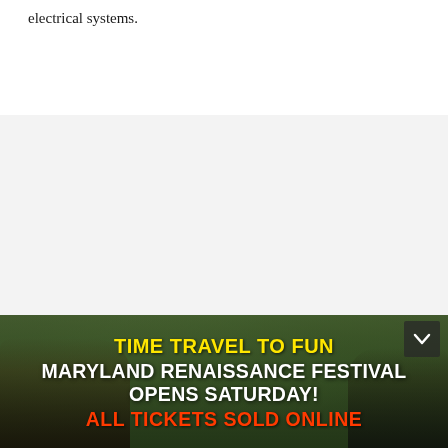electrical systems.
[Figure (photo): Advertisement banner for Maryland Renaissance Festival featuring people in period costumes against a forested background. Text reads: TIME TRAVEL TO FUN / MARYLAND RENAISSANCE FESTIVAL OPENS SATURDAY! / ALL TICKETS SOLD ONLINE]